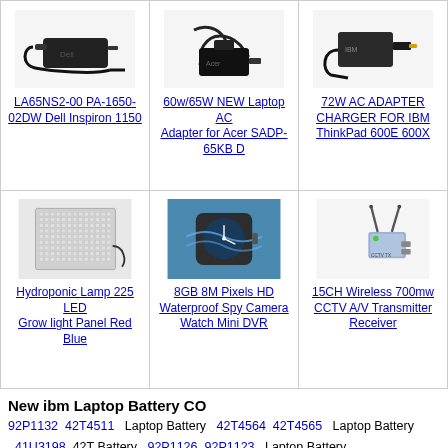[Figure (photo): LA65NS2-00 PA-1650-02DW Dell Inspiron 1150 AC adapter product image]
LA65NS2-00 PA-1650-02DW Dell Inspiron 1150
[Figure (photo): 60w/65W NEW Laptop AC Adapter for Acer SADP-65KB D product image]
60w/65W NEW Laptop AC Adapter for Acer SADP-65KB D
[Figure (photo): 72W AC ADAPTER CHARGER FOR IBM ThinkPad 600E 600X product image]
72W AC ADAPTER CHARGER FOR IBM ThinkPad 600E 600X
[Figure (photo): Hydroponic Lamp 225 LED Grow light Panel Red Blue product image]
Hydroponic Lamp 225 LED Grow light Panel Red Blue
[Figure (photo): 8GB 8M Pixels HD Waterproof Spy Camera Watch Mini DVR product image]
8GB 8M Pixels HD Waterproof Spy Camera Watch Mini DVR
[Figure (photo): 15CH Wireless 700mw CCTV A/V Transmitter Receiver product image]
15CH Wireless 700mw CCTV A/V Transmitter Receiver
New ibm Laptop Battery CO
92P1132  42T4511   Laptop Battery   42T4564  42T4565   Laptop Battery   41U3198  42T Battery   92P1126  92P1123   Laptop Battery
Buy your ibm laptop batteries in different country
Visit Our Laptop Battery Store in US, UK , ES , DE , CA , FR ,IT